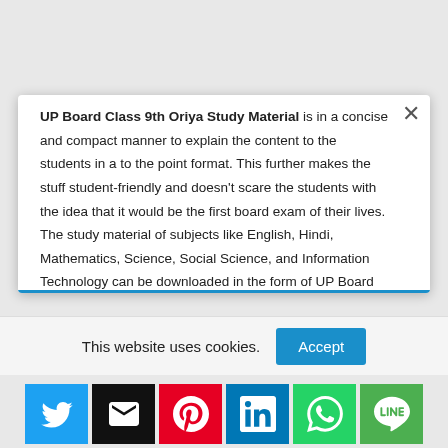UP Board Class 9th Oriya Study Material is in a concise and compact manner to explain the content to the students in a to the point format. This further makes the stuff student-friendly and doesn't scare the students with the idea that it would be the first board exam of their lives. The study material of subjects like English, Hindi, Mathematics, Science, Social Science, and Information Technology can be downloaded in the form of UP Board Class 9th Oriya Study Material PDFs.
This website uses cookies.
Accept